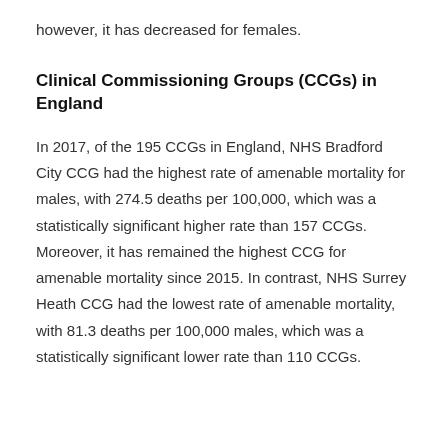however, it has decreased for females.
Clinical Commissioning Groups (CCGs) in England
In 2017, of the 195 CCGs in England, NHS Bradford City CCG had the highest rate of amenable mortality for males, with 274.5 deaths per 100,000, which was a statistically significant higher rate than 157 CCGs. Moreover, it has remained the highest CCG for amenable mortality since 2015. In contrast, NHS Surrey Heath CCG had the lowest rate of amenable mortality, with 81.3 deaths per 100,000 males, which was a statistically significant lower rate than 110 CCGs.